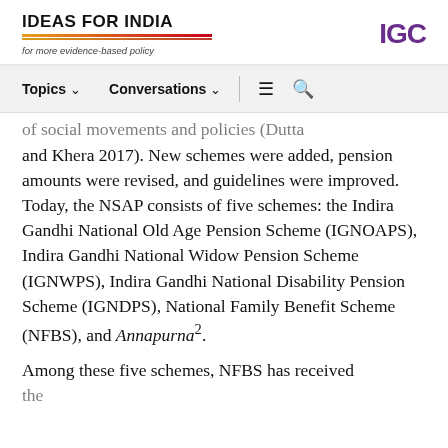IDEAS FOR INDIA — for more evidence-based policy | IGC
Topics ∨  Conversations ∨  ≡  🔍
of social movements and policies (Dutta and Khera 2017). New schemes were added, pension amounts were revised, and guidelines were improved. Today, the NSAP consists of five schemes: the Indira Gandhi National Old Age Pension Scheme (IGNOAPS), Indira Gandhi National Widow Pension Scheme (IGNWPS), Indira Gandhi National Disability Pension Scheme (IGNDPS), National Family Benefit Scheme (NFBS), and Annapurna². Among these five schemes, NFBS has received the...